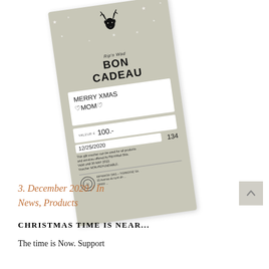[Figure (photo): A Rip'nWad gift voucher card (Bon Cadeau) rotated slightly counter-clockwise on a white background. The card has a gray/beige color with a deer/reindeer logo at top, stars decoration, 'BON CADEAU' text, a white box with handwritten 'MERRY XMAS ♡MOM♡', value field showing '100.-', date '12/25/2020', voucher number '134', fine print about usage, and address details at the bottom.]
3. December 2020 / In News, Products
CHRISTMAS TIME IS NEAR...
The time is Now. Support